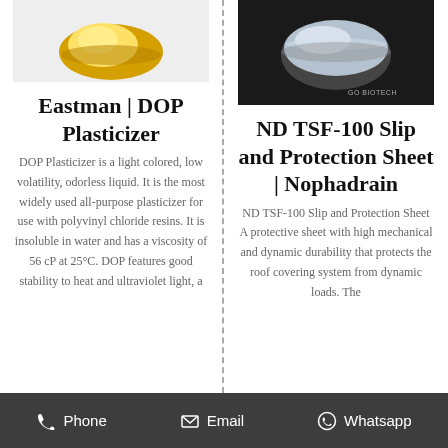[Figure (photo): Photo of golden/amber colored DOP plasticizer liquid blob on white background]
Eastman | DOP Plasticizer
DOP Plasticizer is a light colored, low volatility, odorless liquid. It is the most widely used all-purpose plasticizer for use with polyvinyl chloride resins. It is insoluble in water and has a viscosity of 56 cP at 25°C. DOP features good stability to heat and ultraviolet light, a
[Figure (photo): Photo of clear liquid in a glass bowl/flask on dark background with GO BIOTECH watermark]
ND TSF-100 Slip and Protection Sheet | Nophadrain
ND TSF-100 Slip and Protection Sheet A protective sheet with high mechanical and dynamic durability that protects the roof covering system from dynamic loads. The
Phone   Email   Whatsapp